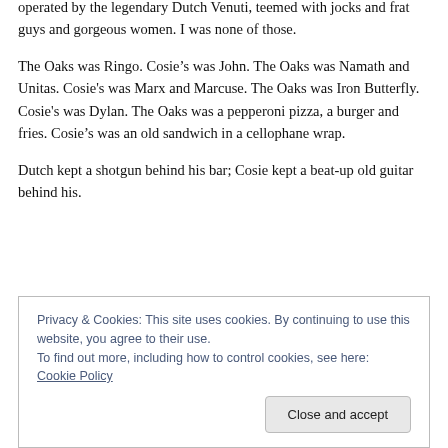operated by the legendary Dutch Venuti, teemed with jocks and frat guys and gorgeous women. I was none of those.
The Oaks was Ringo. Cosie’s was John. The Oaks was Namath and Unitas. Cosie's was Marx and Marcuse. The Oaks was Iron Butterfly. Cosie's was Dylan. The Oaks was a pepperoni pizza, a burger and fries. Cosie’s was an old sandwich in a cellophane wrap.
Dutch kept a shotgun behind his bar; Cosie kept a beat-up old guitar behind his.
Privacy & Cookies: This site uses cookies. By continuing to use this website, you agree to their use.
To find out more, including how to control cookies, see here: Cookie Policy

Close and accept